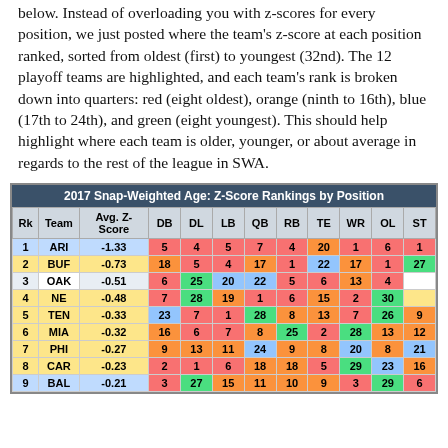below. Instead of overloading you with z-scores for every position, we just posted where the team's z-score at each position ranked, sorted from oldest (first) to youngest (32nd). The 12 playoff teams are highlighted, and each team's rank is broken down into quarters: red (eight oldest), orange (ninth to 16th), blue (17th to 24th), and green (eight youngest). This should help highlight where each team is older, younger, or about average in regards to the rest of the league in SWA.
| Rk | Team | Avg. Z-Score | DB | DL | LB | QB | RB | TE | WR | OL | ST |
| --- | --- | --- | --- | --- | --- | --- | --- | --- | --- | --- | --- |
| 1 | ARI | -1.33 | 5 | 4 | 5 | 7 | 4 | 20 | 1 | 6 | 1 |
| 2 | BUF | -0.73 | 18 | 5 | 4 | 17 | 1 | 22 | 17 | 1 | 27 |
| 3 | OAK | -0.51 | 6 | 25 | 20 | 22 | 5 | 6 | 13 | 4 |  |
| 4 | NE | -0.48 | 7 | 28 | 19 | 1 | 6 | 15 | 2 | 30 |  |
| 5 | TEN | -0.33 | 23 | 7 | 1 | 28 | 8 | 13 | 7 | 26 | 9 |
| 6 | MIA | -0.32 | 16 | 6 | 7 | 8 | 25 | 2 | 28 | 13 | 12 |
| 7 | PHI | -0.27 | 9 | 13 | 11 | 24 | 9 | 8 | 20 | 8 | 21 |
| 8 | CAR | -0.23 | 2 | 1 | 6 | 18 | 18 | 5 | 29 | 23 | 16 |
| 9 | BAL | -0.21 | 3 | 27 | 15 | 11 | 10 | 9 | 3 | 29 | 6 |